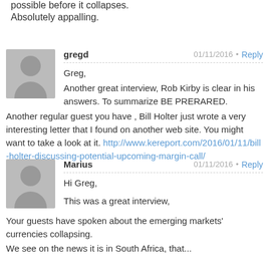possible before it collapses. Absolutely appalling.
gregd
01/11/2016
Reply
Greg,
Another great interview, Rob Kirby is clear in his answers. To summarize BE PRERARED.
Another regular guest you have , Bill Holter just wrote a very interesting letter that I found on another web site. You might want to take a look at it. http://www.kereport.com/2016/01/11/bill-holter-discussing-potential-upcoming-margin-call/
Marius
01/11/2016
Reply
Hi Greg,

This was a great interview,

Your guests have spoken about the emerging markets' currencies collapsing.
We see on the news it is in South Africa, that...